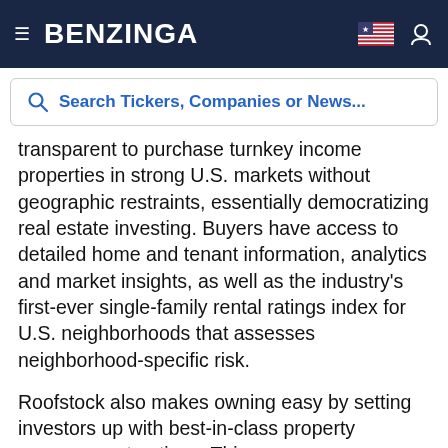BENZINGA
Search Tickers, Companies or News...
transparent to purchase turnkey income properties in strong U.S. markets without geographic restraints, essentially democratizing real estate investing. Buyers have access to detailed home and tenant information, analytics and market insights, as well as the industry's first-ever single-family rental ratings index for U.S. neighborhoods that assesses neighborhood-specific risk.
Roofstock also makes owning easy by setting investors up with best-in-class property management options. This empowers owners to separate investing from operations and buy in markets with the best returns—